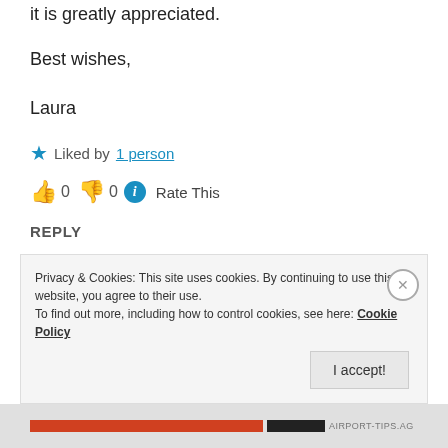it is greatly appreciated.
Best wishes,
Laura
★ Liked by 1 person
👍 0 👎 0 ℹ Rate This
REPLY
Privacy & Cookies: This site uses cookies. By continuing to use this website, you agree to their use. To find out more, including how to control cookies, see here: Cookie Policy
I accept!